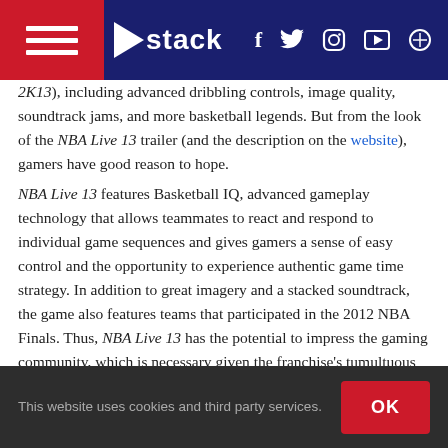stack (navigation bar with hamburger menu, logo, social icons: f, twitter, instagram, youtube, search)
2K13), including advanced dribbling controls, image quality, soundtrack jams, and more basketball legends. But from the look of the NBA Live 13 trailer (and the description on the website), gamers have good reason to hope.
NBA Live 13 features Basketball IQ, advanced gameplay technology that allows teammates to react and respond to individual game sequences and gives gamers a sense of easy control and the opportunity to experience authentic game time strategy. In addition to great imagery and a stacked soundtrack, the game also features teams that participated in the 2012 NBA Finals. Thus, NBA Live 13 has the potential to impress the gaming community, which is necessary given the franchise's tumultuous history.
This website uses cookies and third party services.